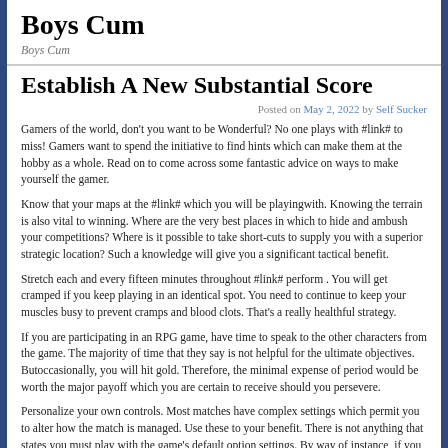Boys Cum
Boys Cum
Establish A New Substantial Score
Posted on May 2, 2022 by Self Sucker
Gamers of the world, don’t you want to be Wonderful? No one plays with #link# to miss! Gamers want to spend the initiative to find hints which can make them at the hobby as a whole. Read on to come across some fantastic advice on ways to make yourself the gamer.
Know that your maps at the #link# which you will be playingwith. Knowing the terrain is also vital to winning. Where are the very best places in which to hide and ambush your competitions? Where is it possible to take short-cuts to supply you with a superior strategic location? Such a knowledge will give you a significant tactical benefit.
Stretch each and every fifteen minutes throughout #link# perform . You will get cramped if you keep playing in an identical spot. You need to continue to keep your muscles busy to prevent cramps and blood clots. That’s a really healthful strategy.
If you are participating in an RPG game, have time to speak to the other characters from the game. The majority of time that they say is not helpful for the ultimate objectives. Butoccasionally, you will hit gold. Therefore, the minimal expense of period would be worth the major payoff which you are certain to receive should you persevere.
Personalize your own controls. Most matches have complex settings which permit you to alter how the match is managed. Use these to your benefit. There is not anything that states you must play with the game’s default option settings. By way of instance, if you have been familiar with jump with just one single button and attacking with the other, and